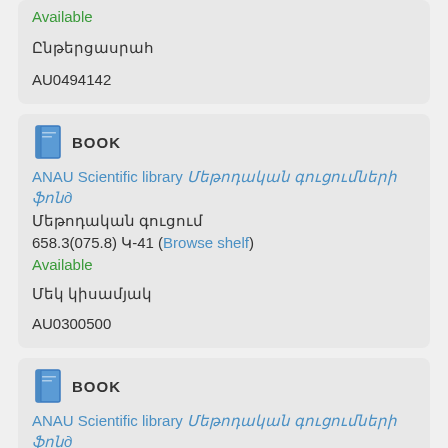Available
Ընթերցասրահ
AU0494142
BOOK
ANAU Scientific library Մեթոդական գուցումների ֆոնд
Մեթոդական գուցում
658.3(075.8) Կ-41 (Browse shelf)
Available
Մեկ կիսամյակ
AU0300500
BOOK
ANAU Scientific library Մեթոդական գուցումների ֆոնд
Մեթոդական գուցում